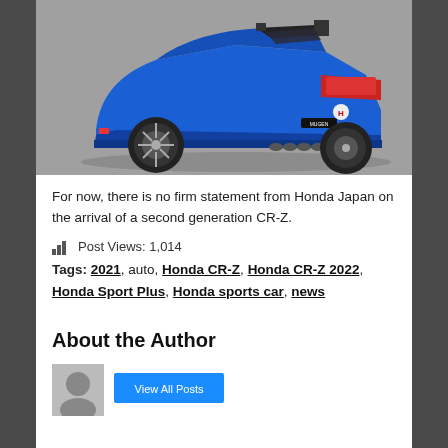[Figure (photo): Rear three-quarter view of a blue Honda CR-Z with Mugen body kit, large rear wing, quad exhaust, and dark alloy wheels on a grey studio background.]
For now, there is no firm statement from Honda Japan on the arrival of a second generation CR-Z.
Post Views: 1,014
Tags: 2021, auto, Honda CR-Z, Honda CR-Z 2022, Honda Sport Plus, Honda sports car, news
About the Author